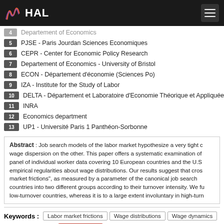HAL
4 Departement of Economics
5 PJSE - Paris Jourdan Sciences Economiques
6 CEPR - Center for Economic Policy Research
7 Departement of Economics - University of Bristol
8 ECON - Département d'économie (Sciences Po)
9 IZA - Institute for the Study of Labor
10 DELTA - Département et Laboratoire d'Economie Théorique et Appliquée
11 INRA
12 Economics department
13 UP1 - Université Paris 1 Panthéon-Sorbonne
Abstract : Job search models of the labor market hypothesize a very tight connection between labor market frictions, wage dispersion on the other. This paper offers a systematic examination of these predictions using a large panel of individual worker data covering 10 European countries and the U.S. We document a set of empirical regularities about wage distributions. Our results suggest that cross-country differences in "labor market frictions", as measured by a parameter of the canonical job search model, systematically classify countries into two different groups according to their turnover intensity. We further find that low-wage mobility is mostly voluntary in low-turnover countries, whereas it is to a large extent involuntary in high-turnover countries.
Keywords : Labor market frictions | Wage distributions | Wage dynamics
Document type : Journal articles
Domain :